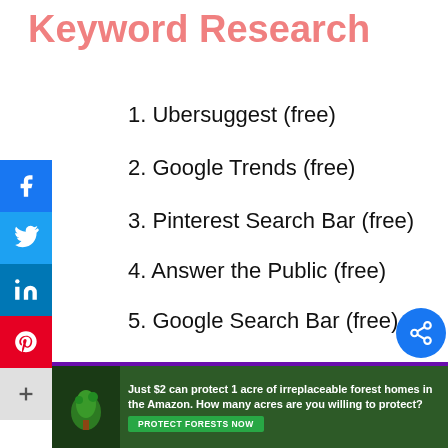Keyword Research
1. Ubersuggest (free)
2. Google Trends (free)
3. Pinterest Search Bar (free)
4. Answer the Public (free)
5. Google Search Bar (free)
This website uses cookies to ensure you get the best experience on our website
Learn more
Dismiss
Just $2 can protect 1 acre of irreplaceable forest homes in the Amazon. How many acres are you willing to protect?